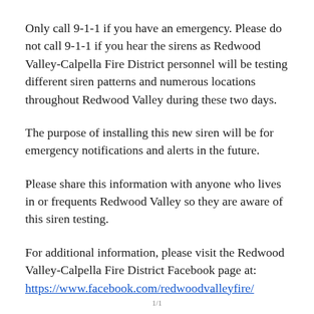Only call 9-1-1 if you have an emergency. Please do not call 9-1-1 if you hear the sirens as Redwood Valley-Calpella Fire District personnel will be testing different siren patterns and numerous locations throughout Redwood Valley during these two days.
The purpose of installing this new siren will be for emergency notifications and alerts in the future.
Please share this information with anyone who lives in or frequents Redwood Valley so they are aware of this siren testing.
For additional information, please visit the Redwood Valley-Calpella Fire District Facebook page at: https://www.facebook.com/redwoodvalleyfire/
1/1